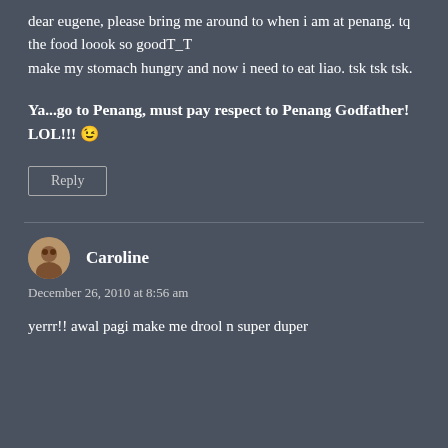dear eugene, please bring me around to when i am at penang. tq
the food loook so goodT_T
make my stomach hungry and now i need to eat liao. tsk tsk tsk.
Ya...go to Penang, must pay respect to Penang Godfather! LOL!!! 😉
Reply
Caroline
December 26, 2010 at 8:56 am
yerrr!! awal pagi make me drool n super duper